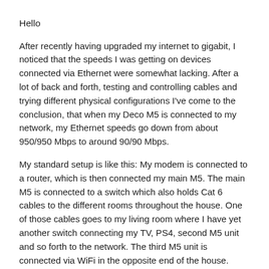Hello
After recently having upgraded my internet to gigabit, I noticed that the speeds I was getting on devices connected via Ethernet were somewhat lacking. After a lot of back and forth, testing and controlling cables and trying different physical configurations I've come to the conclusion, that when my Deco M5 is connected to my network, my Ethernet speeds go down from about 950/950 Mbps to around 90/90 Mbps.
My standard setup is like this: My modem is connected to a router, which is then connected my main M5. The main M5 is connected to a switch which also holds Cat 6 cables to the different rooms throughout the house. One of those cables goes to my living room where I have yet another switch connecting my TV, PS4, second M5 unit and so forth to the network. The third M5 unit is connected via WiFi in the opposite end of the house.
With all the M5s unplugged and turned off everything is fine and my speeds are perfect, but as soon as they're on and connected, the speeds go down. I've also tried to test this